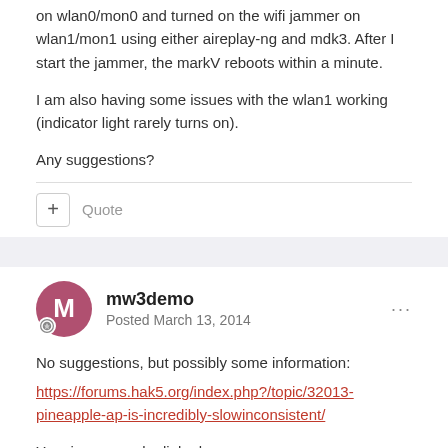on wlan0/mon0 and turned on the wifi jammer on wlan1/mon1 using either aireplay-ng and mdk3. After I start the jammer, the markV reboots within a minute.
I am also having some issues with the wlan1 working (indicator light rarely turns on).
Any suggestions?
Quote
mw3demo
Posted March 13, 2014
No suggestions, but possibly some information:
https://forums.hak5.org/index.php?/topic/32013-pineapple-ap-is-incredibly-slowinconsistent/
Your issue may be linked.